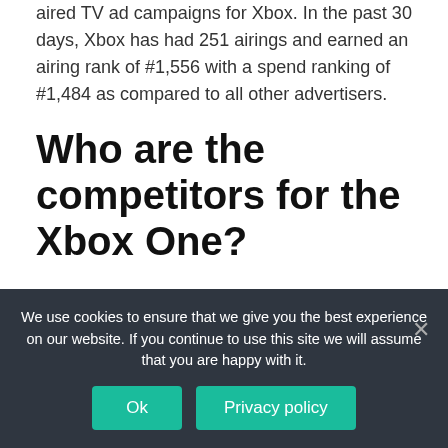aired TV ad campaigns for Xbox. In the past 30 days, Xbox has had 251 airings and earned an airing rank of #1,556 with a spend ranking of #1,484 as compared to all other advertisers.
Who are the competitors for the Xbox One?
Competition for Xbox includes Nintendo, PlayStation, 2K Games, Warner Bros. Games,
We use cookies to ensure that we give you the best experience on our website. If you continue to use this site we will assume that you are happy with it.